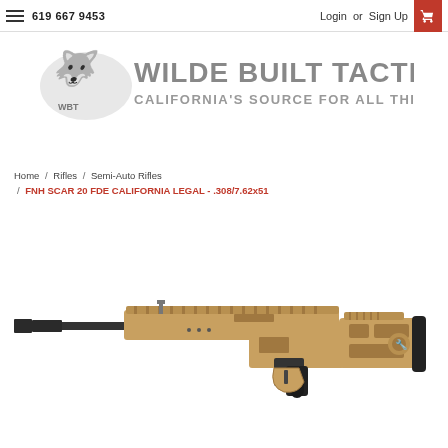619 667 9453  Login or Sign Up
[Figure (logo): Wilde Built Tactical logo — wolf head graphic with WBT shield, text: WILDE BUILT TACTICAL / CALIFORNIA'S SOURCE FOR ALL THINGS AWESOME]
Home / Rifles / Semi-Auto Rifles / FNH SCAR 20 FDE CALIFORNIA LEGAL - .308/7.62x51
[Figure (photo): FNH SCAR 20 FDE semi-automatic rifle in flat dark earth (tan/brown) color with black barrel and black pistol grip, shown in profile view facing left]